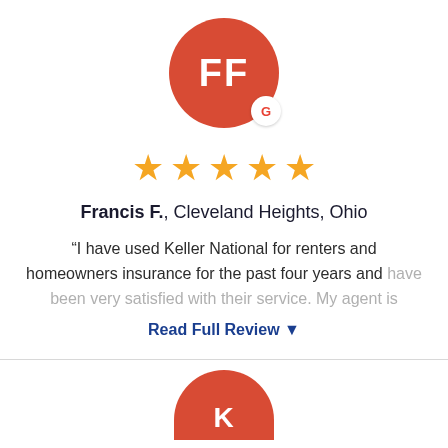[Figure (illustration): Red circular avatar with white initials FF and a Google badge icon in the bottom right]
[Figure (illustration): Five gold star rating]
Francis F., Cleveland Heights, Ohio
“I have used Keller National for renters and homeowners insurance for the past four years and have been very satisfied with their service. My agent is
Read Full Review ▼
[Figure (illustration): Partial red circular avatar with white initials K visible at bottom of page]